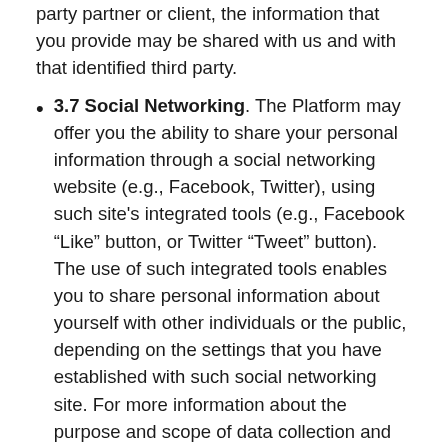party partner or client, the information that you provide may be shared with us and with that identified third party.
3.7 Social Networking. The Platform may offer you the ability to share your personal information through a social networking website (e.g., Facebook, Twitter), using such site's integrated tools (e.g., Facebook “Like” button, or Twitter “Tweet” button). The use of such integrated tools enables you to share personal information about yourself with other individuals or the public, depending on the settings that you have established with such social networking site. For more information about the purpose and scope of data collection and use in connection with such social networking site or a site’s integrated tools,